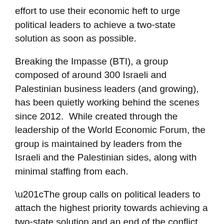effort to use their economic heft to urge political leaders to achieve a two-state solution as soon as possible.
Breaking the Impasse (BTI), a group composed of around 300 Israeli and Palestinian business leaders (and growing), has been quietly working behind the scenes since 2012. While created through the leadership of the World Economic Forum, the group is maintained by leaders from the Israeli and the Palestinian sides, along with minimal staffing from each.
“The group calls on political leaders to attach the highest priority towards achieving a two-state solution and an end of the conflict between the two peoples,” according to its mission statement. The statement goes on to say that
the BTI is deeply concerned that the lack of progress on the political front will